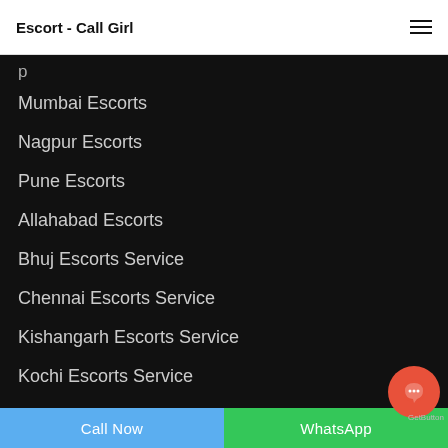Escort - Call Girl
Mumbai Escorts
Nagpur Escorts
Pune Escorts
Allahabad Escorts
Bhuj Escorts Service
Chennai Escorts Service
Kishangarh Escorts Service
Kochi Escorts Service
Lucknow Escorts Service
Ludhiana Escort Service
Visakhapatnam Escort Service
Call Now | WhatsApp